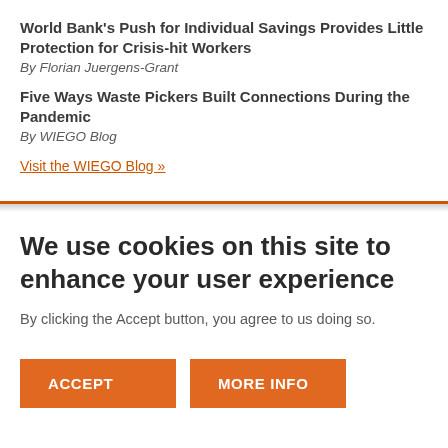World Bank's Push for Individual Savings Provides Little Protection for Crisis-hit Workers
By Florian Juergens-Grant
Five Ways Waste Pickers Built Connections During the Pandemic
By WIEGO Blog
Visit the WIEGO Blog »
We use cookies on this site to enhance your user experience
By clicking the Accept button, you agree to us doing so.
ACCEPT
MORE INFO